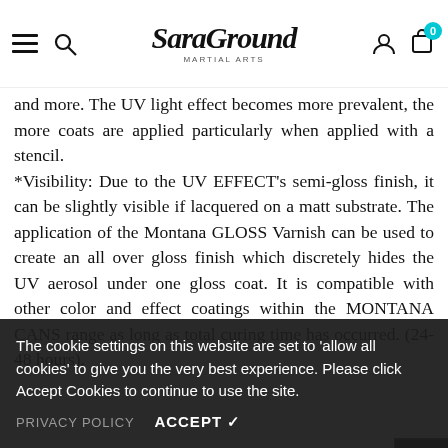SaraGround (logo) — navigation header with hamburger menu, search, account, cart (0)
and more. The UV light effect becomes more prevalent, the more coats are applied particularly when applied with a stencil. *Visibility: Due to the UV EFFECT's semi-gloss finish, it can be slightly visible if lacquered on a matt substrate. The application of the Montana GLOSS Varnish can be used to create an all over gloss finish which discretely hides the UV aerosol under one gloss coat. It is compatible with other color and effect coatings within the MONTANA CANS range as long as total curing time has occurred. (24-48 hours).
Applying in thin, multiple layers will enhance and increase the UV EFFECT sprays ability to produce a vibrant glow effect. To add or Always test spray Gloss. Always test spray to check compatibility of paint.
The cookie settings on this website are set to 'allow all cookies' to give you the very best experience. Please click Accept Cookies to continue to use the site. PRIVACY POLICY   ACCEPT ✓